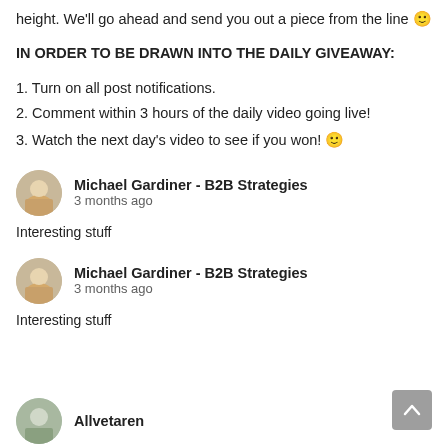height. We'll go ahead and send you out a piece from the line 🙂
IN ORDER TO BE DRAWN INTO THE DAILY GIVEAWAY:
1. Turn on all post notifications.
2. Comment within 3 hours of the daily video going live!
3. Watch the next day's video to see if you won! 🙂
Michael Gardiner - B2B Strategies
3 months ago
Interesting stuff
Michael Gardiner - B2B Strategies
3 months ago
Interesting stuff
Allvetaren